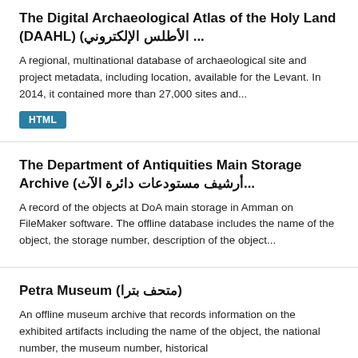The Digital Archaeological Atlas of the Holy Land (DAAHL) (الأطلس الإلكتروني ...
A regional, multinational database of archaeological site and project metadata, including location, available for the Levant. In 2014, it contained more than 27,000 sites and...
HTML
The Department of Antiquities Main Storage Archive (أرشيف مستودعات دائرة الآث...
A record of the objects at DoA main storage in Amman on FileMaker software. The offline database includes the name of the object, the storage number, description of the object...
Petra Museum (متحف بترا)
An offline museum archive that records information on the exhibited artifacts including the name of the object, the national number, the museum number, historical...